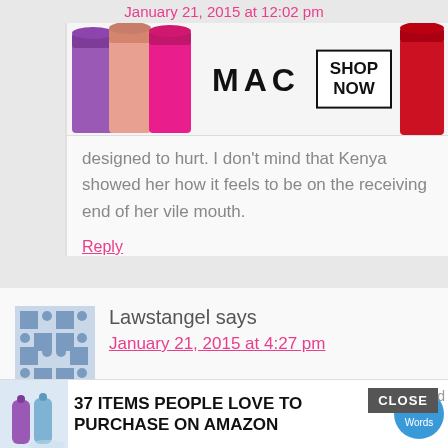January 21, 2015 at 12:02 pm
[Figure (photo): MAC Cosmetics advertisement banner showing colorful lipsticks (purple, pink, coral) on left, MAC logo in center, SHOP NOW box on right, red lipstick on far right]
designed to hurt. I don't mind that Kenya showed her how it feels to be on the receiving end of her vile mouth.
Reply
Lawstangel says
January 21, 2015 at 4:27 pm
I watched this on DVR last night. After all was said and done, at the very end when everyone had left the board room T
[Figure (infographic): Bottom advertisement bar: '37 ITEMS PEOPLE LOVE TO PURCHASE ON AMAZON' with blue 22 Words badge, X close button]
CLOSE